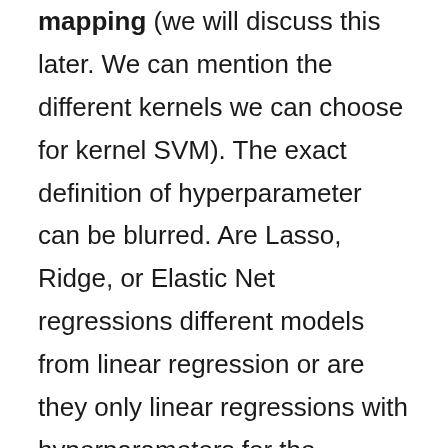mapping (we will discuss this later. We can mention the different kernels we can choose for kernel SVM). The exact definition of hyperparameter can be blurred. Are Lasso, Ridge, or Elastic Net regressions different models from linear regression or are they only linear regressions with hyperparameters for the regularization for the parameters? The answer may not be very important. It is interesting to know that with sci-kit learn, logistic regression has directly these arguments (penalty and C). The